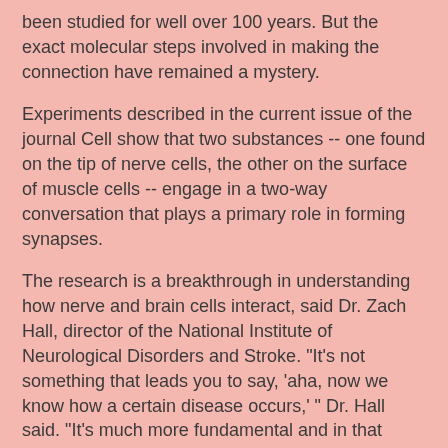been studied for well over 100 years. But the exact molecular steps involved in making the connection have remained a mystery.
Experiments described in the current issue of the journal Cell show that two substances -- one found on the tip of nerve cells, the other on the surface of muscle cells -- engage in a two-way conversation that plays a primary role in forming synapses.
The research is a breakthrough in understanding how nerve and brain cells interact, said Dr. Zach Hall, director of the National Institute of Neurological Disorders and Stroke. "It's not something that leads you to say, 'aha, now we know how a certain disease occurs,' " Dr. Hall said. "It's much more fundamental and in that sense important."
Dr. Joshua Sanes, of Washington University School of Medicine in St. Louis and colleagues developed strains of mice that lacked agrin, a molecule known to work in test tubes to cause muscle cells to develop receptors for an important neurotransmitter, acetylcholine, which travels